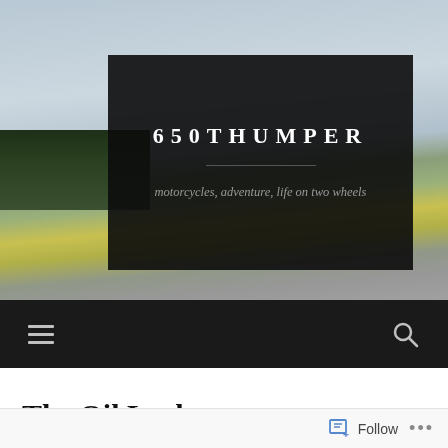[Figure (photo): Hero banner image of a motorcycle blog called 650THUMPER. Dark semi-transparent overlay box centered on a photo showing a motorcycle parked on a road next to a yellow rapeseed field with trees in background and cloudy sky. The overlay contains the site title '650THUMPER', a horizontal divider line, and the tagline 'motorcycles, adventure, life on two wheels'.]
650THUMPER
motorcycles, adventure, life on two wheels
The Oil Leak
Follow ...